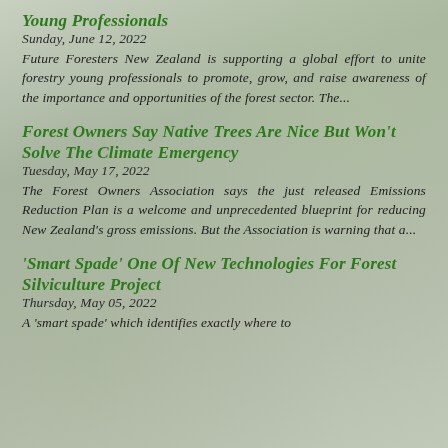Young Professionals
Sunday, June 12, 2022
Future Foresters New Zealand is supporting a global effort to unite forestry young professionals to promote, grow, and raise awareness of the importance and opportunities of the forest sector. The...
Forest Owners say native trees are nice but won't solve the Climate Emergency
Tuesday, May 17, 2022
The Forest Owners Association says the just released Emissions Reduction Plan is a welcome and unprecedented blueprint for reducing New Zealand's gross emissions. But the Association is warning that a...
'Smart spade' one of new technologies for forest silviculture project
Thursday, May 05, 2022
A 'smart spade' which identifies exactly where to